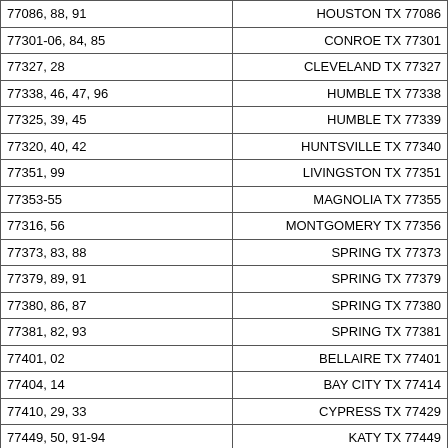| ZIP Codes | City/State |
| --- | --- |
| 77086, 88, 91 | HOUSTON TX 77086 |
| 77301-06, 84, 85 | CONROE TX 77301 |
| 77327, 28 | CLEVELAND TX 77327 |
| 77338, 46, 47, 96 | HUMBLE TX 77338 |
| 77325, 39, 45 | HUMBLE TX 77339 |
| 77320, 40, 42 | HUNTSVILLE TX 77340 |
| 77351, 99 | LIVINGSTON TX 77351 |
| 77353-55 | MAGNOLIA TX 77355 |
| 77316, 56 | MONTGOMERY TX 77356 |
| 77373, 83, 88 | SPRING TX 77373 |
| 77379, 89, 91 | SPRING TX 77379 |
| 77380, 86, 87 | SPRING TX 77380 |
| 77381, 82, 93 | SPRING TX 77381 |
| 77401, 02 | BELLAIRE TX 77401 |
| 77404, 14 | BAY CITY TX 77414 |
| 77410, 29, 33 | CYPRESS TX 77429 |
| 77449, 50, 91-94 | KATY TX 77449 |
| 77459, 89 | MISSOURI CITY TX 77459 |
| 77406, 69 | RICHMOND TX 77469 |
| 77477, 97 | STAFFORD TX 77477 |